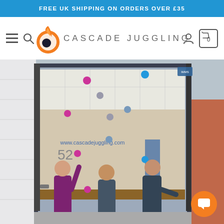FREE UK SHIPPING ON ORDERS OVER £35
[Figure (logo): Cascade Juggling logo with orange flame/swirl graphic and text 'CASCADE JUGGLING']
[Figure (photo): Three men juggling colorful balls in front of the Cascade Juggling shop at number 52, showing the store front with large glass windows and juggling equipment visible inside]